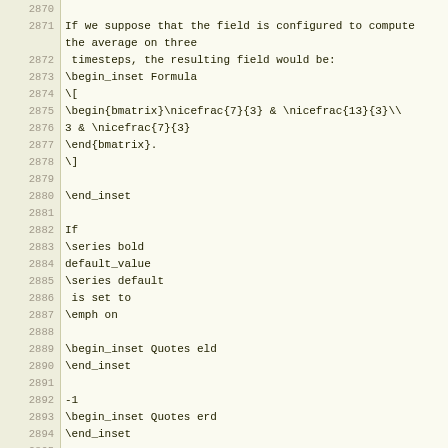Code listing with line numbers 2870–2901 showing LaTeX/LyX source code
| line | code |
| --- | --- |
| 2870 |  |
| 2871 | If we suppose that the field is configured to compute the average on three |
| 2872 |  timesteps, the resulting field would be: |
| 2873 | \begin_inset Formula |
| 2874 | \[ |
| 2875 | \begin{bmatrix}\nicefrac{7}{3} & \nicefrac{13}{3}\\ |
| 2876 | 3 & \nicefrac{7}{3} |
| 2877 | \end{bmatrix}. |
| 2878 | \] |
| 2879 |  |
| 2880 | \end_inset |
| 2881 |  |
| 2882 | If |
| 2883 | \series bold |
| 2884 | default_value |
| 2885 | \series default |
| 2886 |  is set to |
| 2887 | \emph on |
| 2888 |  |
| 2889 | \begin_inset Quotes eld |
| 2890 | \end_inset |
| 2891 |  |
| 2892 | -1 |
| 2893 | \begin_inset Quotes erd |
| 2894 | \end_inset |
| 2895 |  |
| 2896 |  |
| 2897 | \emph default |
| 2898 |  and |
| 2899 | \series bold |
| 2900 | detect_missing_value |
| 2901 | \series default |